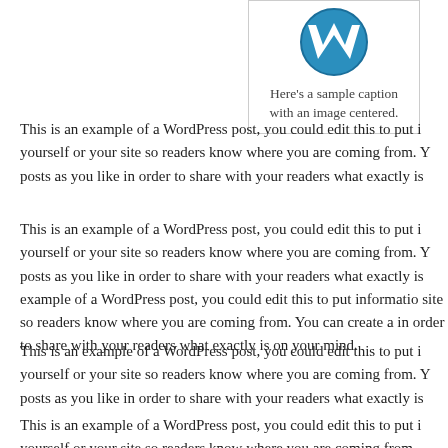[Figure (logo): WordPress logo (blue circular W icon) with a caption below reading 'Here's a sample caption with an image centered.']
Here's a sample caption with an image centered.
This is an example of a WordPress post, you could edit this to put information about yourself or your site so readers know where you are coming from. You can create as many posts as you like in order to share with your readers what exactly is
This is an example of a WordPress post, you could edit this to put information about yourself or your site so readers know where you are coming from. You can create as many posts as you like in order to share with your readers what exactly is example of a WordPress post, you could edit this to put information about yourself or your site so readers know where you are coming from. You can create as many posts in order to share with your readers what exactly is on your mind.
This is an example of a WordPress post, you could edit this to put information about yourself or your site so readers know where you are coming from. You can create as many posts as you like in order to share with your readers what exactly is
This is an example of a WordPress post, you could edit this to put information about yourself or your site so readers know where you are coming from.